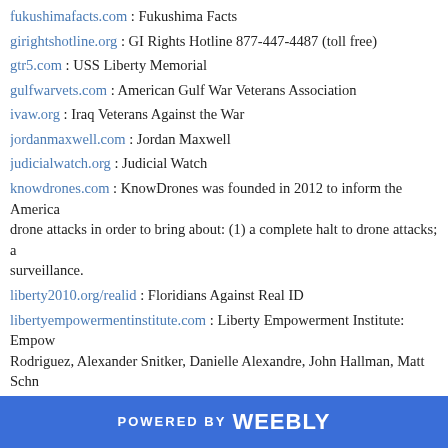fukushimafacts.com : Fukushima Facts
girightshotline.org : GI Rights Hotline 877-447-4487 (toll free)
gtr5.com : USS Liberty Memorial
gulfwarvets.com : American Gulf War Veterans Association
ivaw.org : Iraq Veterans Against the War
jordanmaxwell.com : Jordan Maxwell
judicialwatch.org : Judicial Watch
knowdrones.com : KnowDrones was founded in 2012 to inform the America drone attacks in order to bring about: (1) a complete halt to drone attacks; a surveillance.
liberty2010.org/realid : Floridians Against Real ID
libertyempowermentinstitute.com : Liberty Empowerment Institute: Empow Rodriguez, Alexander Snitker, Danielle Alexandre, John Hallman, Matt Schn
libertyfirstfl.org : Liberty First Network: Putting Liberty First in Florida
www.libertypac.com : Liberty PAC for Ron Paul
lpf.org : Libertarian Party of Florida
maebrussell.com : The late Mae Brussell
militarycorruption.com : "Fighting for the truth, exposing the corrupt [in t
minutemanhq.com : Minuteman Civil Defense Corps
ncsa1.org : National Constitutional Sheriffs' Association
POWERED BY weebly